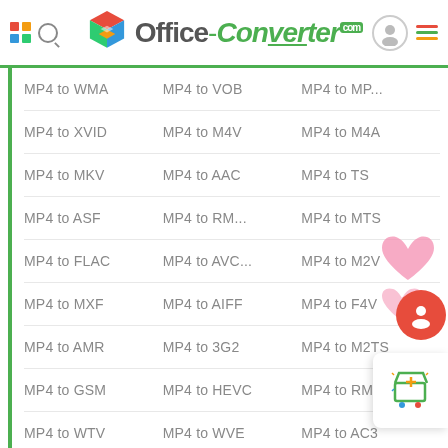[Figure (logo): Office-Converter.com website header with colorful cube logo, grid and search icons on left, avatar and hamburger menu on right, green bottom border]
MP4 to WMA   MP4 to VOB   MP4 to MP...
MP4 to XVID   MP4 to M4V   MP4 to M4A
MP4 to MKV   MP4 to AAC   MP4 to TS
MP4 to ASF   MP4 to RM...   MP4 to MTS
MP4 to FLAC   MP4 to AVC...   MP4 to M2V
MP4 to MXF   MP4 to AIFF   MP4 to F4V
MP4 to AMR   MP4 to 3G2   MP4 to M2TS
MP4 to GSM   MP4 to HEVC   MP4 to RM
MP4 to WTV   MP4 to WVE   MP4 to AC3
MP4 to CDDA   MP4 to CAF   MP4 to AU